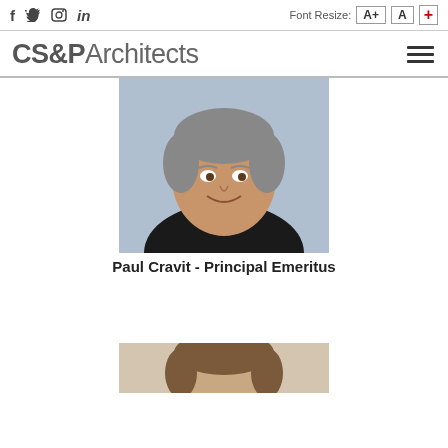CS&P Architects — social icons, font resize, hamburger menu
[Figure (photo): Portrait photo of Paul Cravit, a middle-aged man with grey hair wearing a black polo shirt, smiling, with a light blue background]
Paul Cravit - Principal Emeritus
[Figure (photo): Partial portrait photo of a second person, cropped at the bottom of the page]